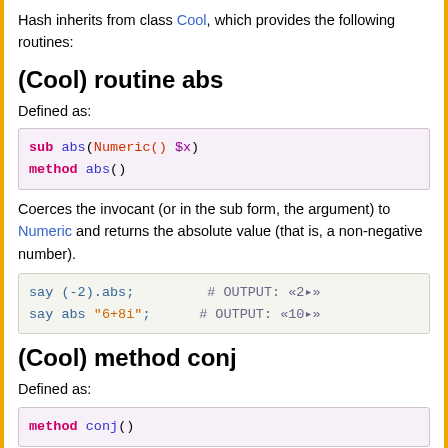Hash inherits from class Cool, which provides the following routines:
(Cool) routine abs
Defined as:
sub abs(Numeric() $x)
method abs()
Coerces the invocant (or in the sub form, the argument) to Numeric and returns the absolute value (that is, a non-negative number).
say (-2).abs;         # OUTPUT: «2❵»
say abs "6+8i";       # OUTPUT: «10❵»
(Cool) method conj
Defined as:
method conj()
Coerces the invocant to Numeric and returns the complex conjugate